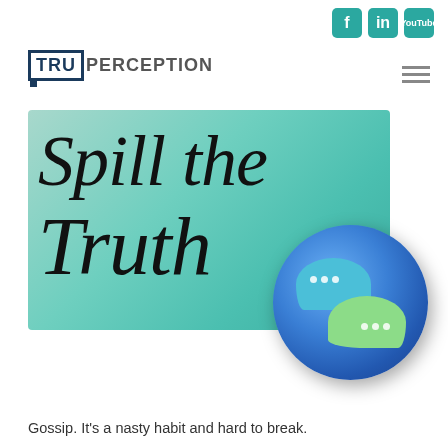Social media icons: Facebook, LinkedIn, YouTube
[Figure (logo): TruPerception logo with TRU in a box followed by PERCEPTION text]
[Figure (illustration): Green banner reading 'Spill the Truth' in cursive script with a 3D blue chat bubble icon on the right]
Gossip. It's a nasty habit and hard to break.